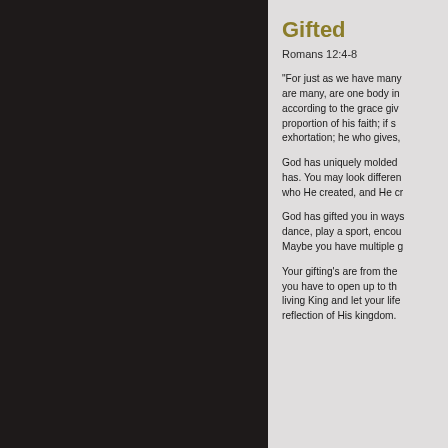[Figure (other): Dark black/very dark brown left panel taking up roughly 60% of the page width]
Gifted
Romans 12:4-8
“For just as we have many members in one body and all the members are many, are one body in Christ… Since we have gifts that differ according to the grace given to us, each of us is to exercise them accordingly: if prophecy, according to the proportion of his faith; if service, in his serving; or he who teaches, in his teaching; or he who exhorts, in his exhortation; he who gives, with liberality…”
God has uniquely molded and shaped you into the person He has. You may look different, act different, think different. That’s who He created, and He cr…
God has gifted you in ways that are unique to you. You may dance, play a sport, encourage others, teach, or lead others. Maybe you have multiple g…
Your gifting’s are from the Lord and for His glory. But first, you have to open up to the gifts He has given. Come to Him, the living King and let your life and gifts be a living and breathing reflection of His kingdom.